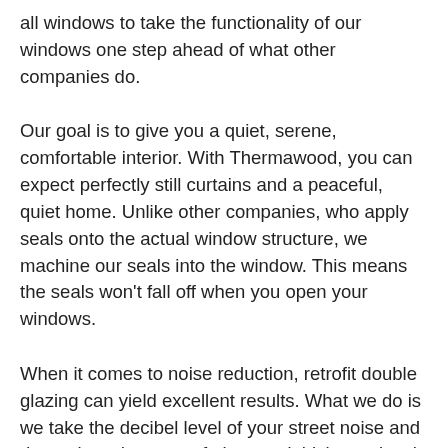all windows to take the functionality of our windows one step ahead of what other companies do.
Our goal is to give you a quiet, serene, comfortable interior. With Thermawood, you can expect perfectly still curtains and a peaceful, quiet home. Unlike other companies, who apply seals onto the actual window structure, we machine our seals into the window. This means the seals won't fall off when you open your windows.
When it comes to noise reduction, retrofit double glazing can yield excellent results. What we do is we take the decibel level of your street noise and determine what type of glass and thickness level is required to get the acoustic benefits you want. We